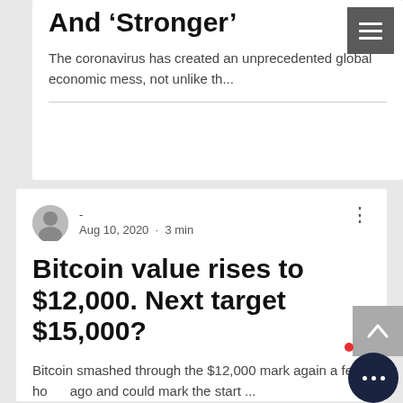And ‘Stronger’
The coronavirus has created an unprecedented global economic mess, not unlike th...
Aug 10, 2020 · 3 min
Bitcoin value rises to $12,000. Next target $15,000?
Bitcoin smashed through the $12,000 mark again a few hours ago and could mark the start ...